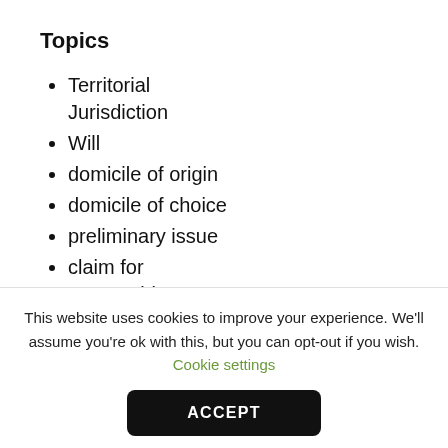Topics
Territorial Jurisdiction
Will
domicile of origin
domicile of choice
preliminary issue
claim for reasonabl
This website uses cookies to improve your experience. We'll assume you're ok with this, but you can opt-out if you wish. Cookie settings
ACCEPT